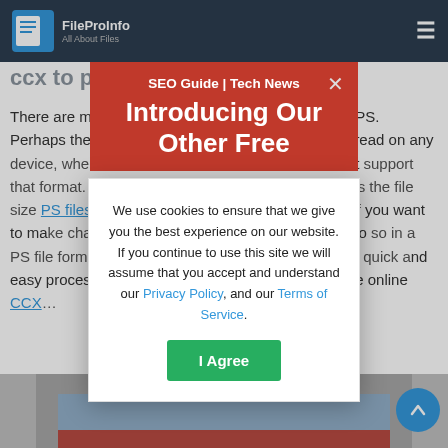FileProInfo – All About Files
ccx to ps online & free
There are many benefits to converting a CCX file to PS. Perhaps the most obvious benefit is that PS files can be read on any device, whereas CCX files are limited to devices that support that format. Also, converting a CCX to PS also makes the file size smaller, as PS files tend to be more compact. Additionally, if you want to make changes to a CCX file, it is much easier to do so in a PS file format than that. Finally, converting to PS is a quick and easy process that can be done for free using this free online CCX…
[Figure (screenshot): Red notification banner with 'SEO Guide | Tech News' header and 'Introducing Our Other Free' headline, with a close X button]
[Figure (screenshot): Cookie consent modal with text about cookies, Privacy Policy and Terms of Service links, and an I Agree button]
[Figure (screenshot): Bottom image strip showing a partially visible UI element with blue and red sections]
[Figure (screenshot): Scroll-to-top circular blue button with upward arrow]